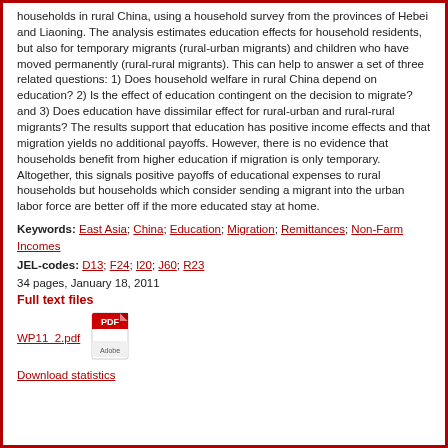households in rural China, using a household survey from the provinces of Hebei and Liaoning. The analysis estimates education effects for household residents, but also for temporary migrants (rural-urban migrants) and children who have moved permanently (rural-rural migrants). This can help to answer a set of three related questions: 1) Does household welfare in rural China depend on education? 2) Is the effect of education contingent on the decision to migrate? and 3) Does education have dissimilar effect for rural-urban and rural-rural migrants? The results support that education has positive income effects and that migration yields no additional payoffs. However, there is no evidence that households benefit from higher education if migration is only temporary. Altogether, this signals positive payoffs of educational expenses to rural households but households which consider sending a migrant into the urban labor force are better off if the more educated stay at home.
Keywords: East Asia; China; Education; Migration; Remittances; Non-Farm Incomes
JEL-codes: D13; F24; I20; J60; R23
34 pages, January 18, 2011
Full text files
[Figure (other): PDF icon (Adobe PDF logo)]
WP11_2.pdf
Download statistics